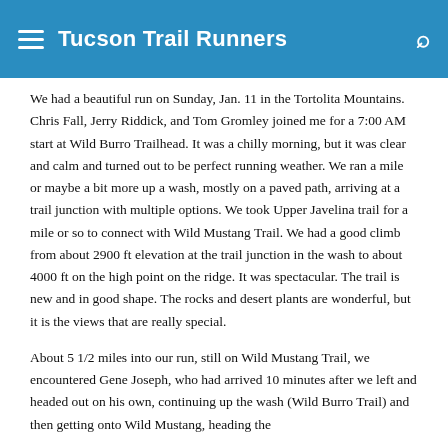Tucson Trail Runners
We had a beautiful run on Sunday, Jan. 11 in the Tortolita Mountains. Chris Fall, Jerry Riddick, and Tom Gromley joined me for a 7:00 AM start at Wild Burro Trailhead. It was a chilly morning, but it was clear and calm and turned out to be perfect running weather. We ran a mile or maybe a bit more up a wash, mostly on a paved path, arriving at a trail junction with multiple options. We took Upper Javelina trail for a mile or so to connect with Wild Mustang Trail. We had a good climb from about 2900 ft elevation at the trail junction in the wash to about 4000 ft on the high point on the ridge. It was spectacular. The trail is new and in good shape. The rocks and desert plants are wonderful, but it is the views that are really special.
About 5 1/2 miles into our run, still on Wild Mustang Trail, we encountered Gene Joseph, who had arrived 10 minutes after we left and headed out on his own, continuing up the wash (Wild Burro Trail) and then getting onto Wild Mustang, heading the